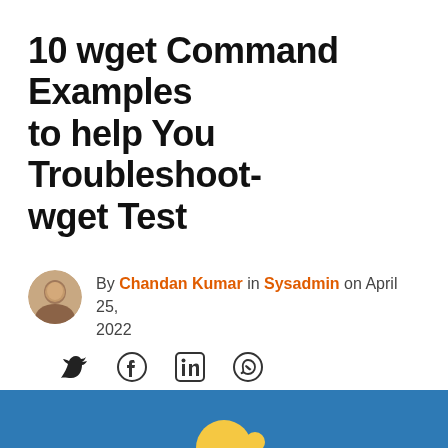10 wget Command Examples to help You Troubleshoot-wget Test
By Chandan Kumar in Sysadmin on April 25, 2022
[Figure (infographic): Social share icons: Twitter, Facebook, LinkedIn, WhatsApp]
Geekflare is supported by our audience. We may earn affiliate commissions from buying links on this site.
[Figure (illustration): Blue banner at the bottom of the page with partial illustration]